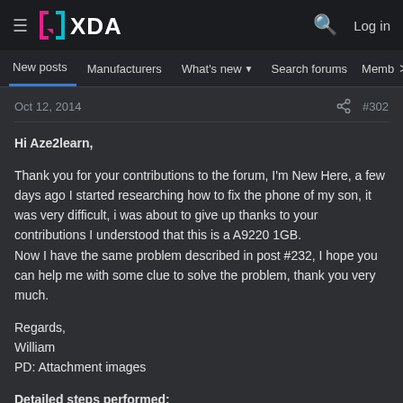XDA Developers — Log in
New posts  Manufacturers  What's new  Search forums  Members  >
Oct 12, 2014  #302
Hi Aze2learn,

Thank you for your contributions to the forum, I'm New Here, a few days ago I started researching how to fix the phone of my son, it was very difficult, i was about to give up thanks to your contributions I understood that this is a A9220 1GB.
Now I have the same problem described in post #232, I hope you can help me with some clue to solve the problem, thank you very much.

Regards,
William
PD: Attachment images

Detailed steps performed: